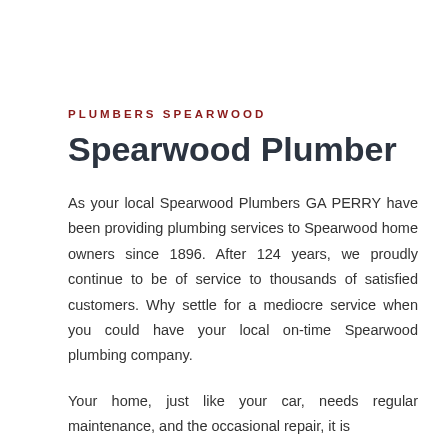PLUMBERS SPEARWOOD
Spearwood Plumber
As your local Spearwood Plumbers GA PERRY have been providing plumbing services to Spearwood home owners since 1896. After 124 years, we proudly continue to be of service to thousands of satisfied customers. Why settle for a mediocre service when you could have your local on-time Spearwood plumbing company.
Your home, just like your car, needs regular maintenance, and the occasional repair, it is